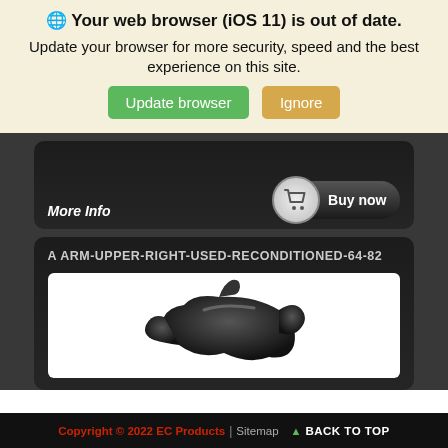🌐 Your web browser (iOS 11) is out of date.
Update your browser for more security, speed and the best experience on this site.
Update browser  Ignore
More Info  Buy now
A ARM-UPPER-RIGHT-USED-RECONDITIONED-64-82
[Figure (photo): Photo of a black plastic arm part (upper right, reconditioned)]
Copyright © 2022 EC Products | Sitemap ▲ BACK TO TOP